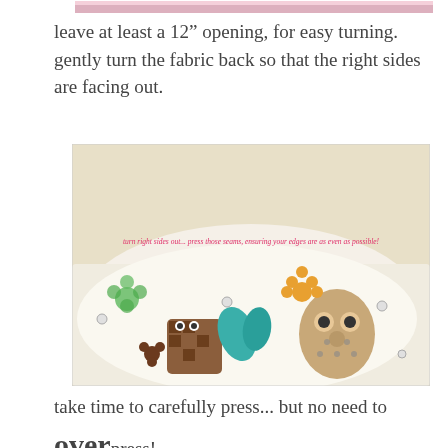[Figure (photo): Partial view of fabric at top of page, cropped]
leave at least a 12" opening, for easy turning. gently turn the fabric back so that the right sides are facing out.
[Figure (photo): Photo of patterned fabric with colorful owl and flower print, turned right sides out, with pink text overlay reading 'turn right sides out... press those seams, ensuring your edges are as even as possible!']
take time to carefully press... but no need to OVERpress!